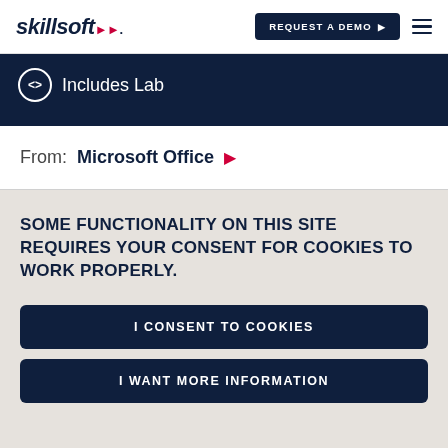skillsoft | REQUEST A DEMO
<> Includes Lab
From: Microsoft Office ▶
SOME FUNCTIONALITY ON THIS SITE REQUIRES YOUR CONSENT FOR COOKIES TO WORK PROPERLY.
I CONSENT TO COOKIES
I WANT MORE INFORMATION